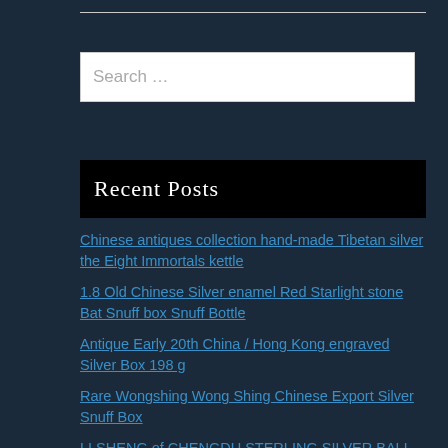[Figure (other): Top horizontal rule divider]
Search …
Recent Posts
Chinese antiques collection hand-made Tibetan silver the Eight Immortals kettle
1.8 Old Chinese Silver enamel Red Starlight stone Bat Snuff box Snuff Bottle
Antique Early 20th China / Hong Kong engraved Silver Box 198 g
Rare Wongshing Wong Shing Chinese Export Silver Snuff Box
LI SHENG of CHENGDU STERLING SILVER BALL FOOTED BOX FILIGREE NO MONOGRAM